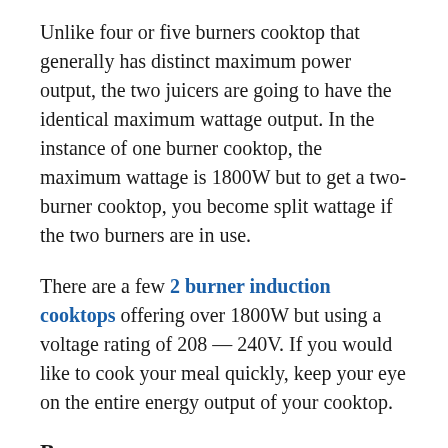Unlike four or five burners cooktop that generally has distinct maximum power output, the two juicers are going to have the identical maximum wattage output. In the instance of one burner cooktop, the maximum wattage is 1800W but to get a two-burner cooktop, you become split wattage if the two burners are in use.
There are a few 2 burner induction cooktops offering over 1800W but using a voltage rating of 208 — 240V. If you would like to cook your meal quickly, keep your eye on the entire energy output of your cooktop.
Burners